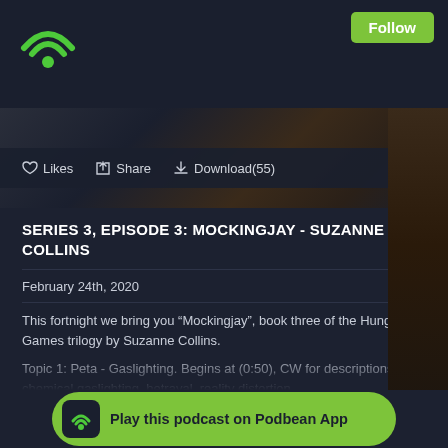[Figure (logo): Podbean green wifi/signal logo in top-left corner]
Follow
[Figure (screenshot): Dark atmospheric background image band]
Likes  Share  Download(55)
SERIES 3, EPISODE 3: MOCKINGJAY - SUZANNE COLLINS
February 24th, 2020
This fortnight we bring you “Mockingjay”, book three of the Hunger Games trilogy by Suzanne Collins.
Topic 1: Peta - Gaslighting. Begins at (0:50), CW for descriptions of chemical gaslighting, betrayal, reality distortion.
Topic 2: Katniss - Institutional cruelty. Begins at (15:30), CW for mention of nuclear weapons, food restriction, rebellion.
Topic 3: [truncated] of nuclear [truncated]
Play this podcast on Podbean App